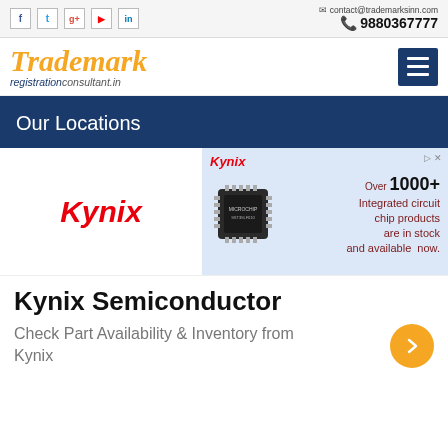contact@trademarksinn.com | 9880367777
Trademark registrationconsultant.in
Our Locations
[Figure (logo): Kynix logo in red italic text on left side of ad panel; right side shows Kynix header, a Microchip IC chip image, and text 'Over 1000+ Integrated circuit chip products are in stock and available now.']
Kynix Semiconductor
Check Part Availability & Inventory from Kynix